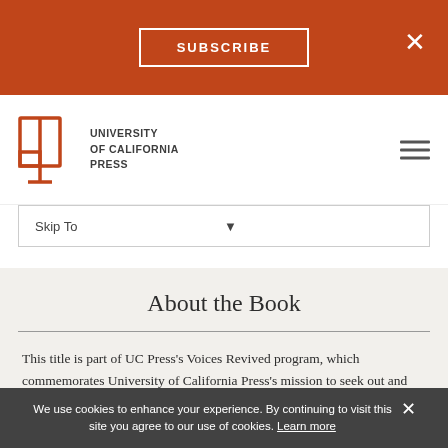SUBSCRIBE
[Figure (logo): University of California Press logo with open book icon and text UNIVERSITY of CALIFORNIA PRESS]
Skip To
About the Book
This title is part of UC Press's Voices Revived program, which commemorates University of California Press's mission to seek out and cultivate the brightest minds and give them voice, reach, and impact. Drawing on a backlist dating to 1893, Voices Revived makes high-quality, peer-reviewed
We use cookies to enhance your experience. By continuing to visit this site you agree to our use of cookies. Learn more